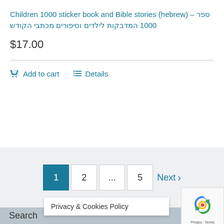Children 1000 sticker book and Bible stories (hebrew) – ספר 1000 המדבקות לילדים וסיפורים מכתבי הקודש
$17.00
Add to cart   Details
1  2  ...  5  Next >
Search
Privacy & Cookies Policy